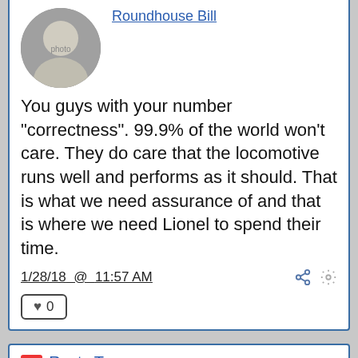[Figure (photo): Profile photo of Roundhouse Bill, a person in a gray hoodie]
Roundhouse Bill
You guys with your number "correctness".  99.9% of the world won't care.  They do care that the locomotive runs well and performs as it should.  That is what we need assurance of and that is where we need Lionel to spend their time.
1/28/18 @ 11:57 AM
♥ 0
RT Rusty Traque
Roundhouse Bill posted:
You guys with your number "correctness". 99.9% of the world won't care.  They do care